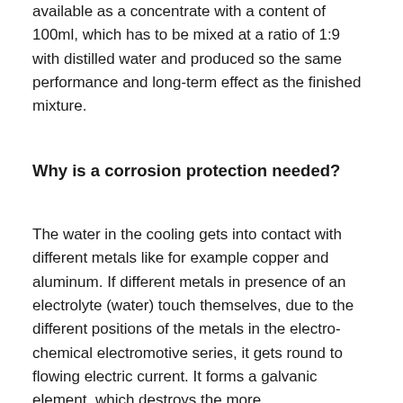available as a concentrate with a content of 100ml, which has to be mixed at a ratio of 1:9 with distilled water and produced so the same performance and long-term effect as the finished mixture.
Why is a corrosion protection needed?
The water in the cooling gets into contact with different metals like for example copper and aluminum. If different metals in presence of an electrolyte (water) touch themselves, due to the different positions of the metals in the electro-chemical electromotive series, it gets round to flowing electric current. It forms a galvanic element, which destroys the more